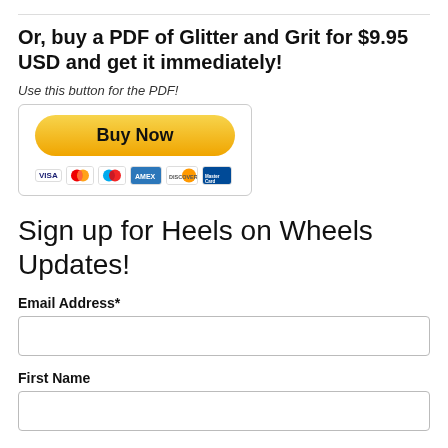Or, buy a PDF of Glitter and Grit for $9.95 USD and get it immediately!
Use this button for the PDF!
[Figure (other): PayPal Buy Now button with credit card icons (Visa, Mastercard, American Express, Discover, MasterCard Maestro)]
Sign up for Heels on Wheels Updates!
Email Address*
First Name
Last Name